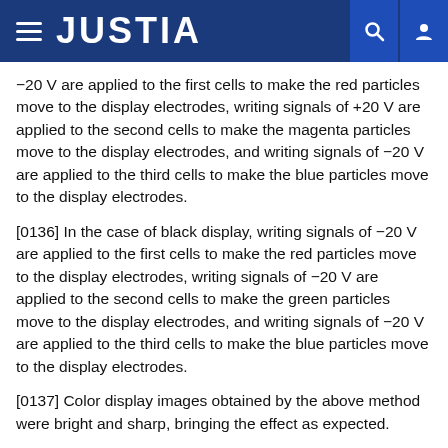JUSTIA
−20 V are applied to the first cells to make the red particles move to the display electrodes, writing signals of +20 V are applied to the second cells to make the magenta particles move to the display electrodes, and writing signals of −20 V are applied to the third cells to make the blue particles move to the display electrodes.
[0136] In the case of black display, writing signals of −20 V are applied to the first cells to make the red particles move to the display electrodes, writing signals of −20 V are applied to the second cells to make the green particles move to the display electrodes, and writing signals of −20 V are applied to the third cells to make the blue particles move to the display electrodes.
[0137] Color display images obtained by the above method were bright and sharp, bringing the effect as expected.